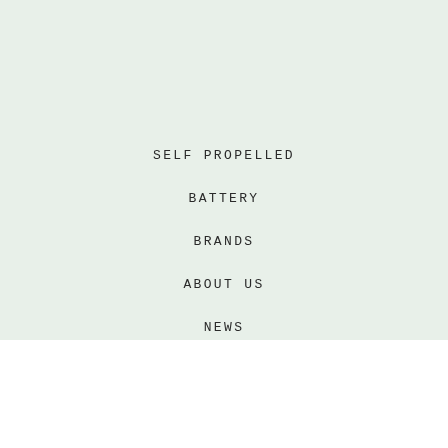SELF PROPELLED
BATTERY
BRANDS
ABOUT US
NEWS